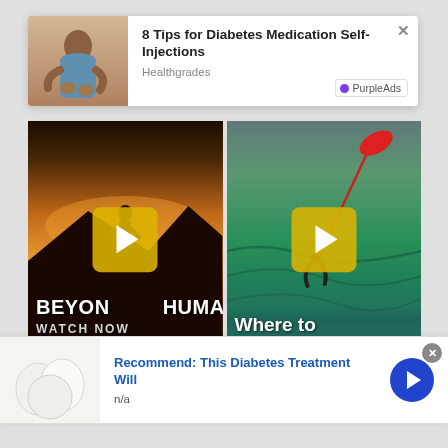[Figure (screenshot): Ad card with person self-injecting, title '8 Tips for Diabetes Medication Self-Injections', source 'Healthgrades', PurpleAds badge]
8 Tips for Diabetes Medication Self-Injections
Healthgrades
[Figure (screenshot): Video thumbnail: Beyond Human: Watch Now with play button overlay]
[Figure (screenshot): Video thumbnail: Where to Kiteboard in Ukraine? with play button overlay]
Beyond Human: Watch Now
Where to Kiteboard in Ukraine?
[Figure (screenshot): Bottom ad banner: Recommend: This Diabetes Treatment Will, n/a, with egg image and arrow button]